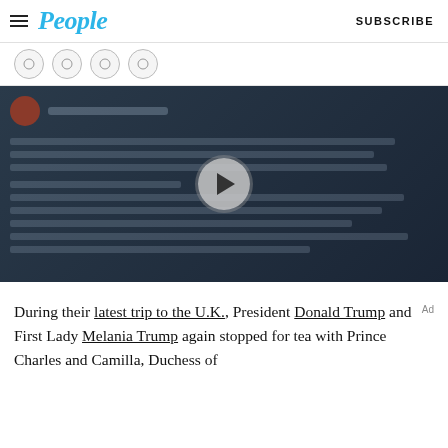People | SUBSCRIBE
[Figure (screenshot): Video player with dark blue background, a circular play button in the center, and blurred social media post content in the background]
During their latest trip to the U.K., President Donald Trump and First Lady Melania Trump again stopped for tea with Prince Charles and Camilla, Duchess of